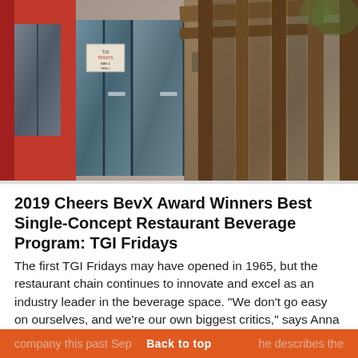[Figure (photo): Exterior photograph of a TGI Fridays restaurant showing red panels, glass doors, and a wooden pergola/trellis structure overhead, photographed from outside at an angle.]
2019 Cheers BevX Award Winners Best Single-Concept Restaurant Beverage Program: TGI Fridays
The first TGI Fridays may have opened in 1965, but the restaurant chain continues to innovate and excel as an industry leader in the beverage space. “We don’t go easy on ourselves, and we’re our own biggest critics,” says Anna Krone, director of bar and beverage innovation for Fridays.
Krone joined the Dallas-based casual-restaurant company this past Sep[...]he describes the
Back to top